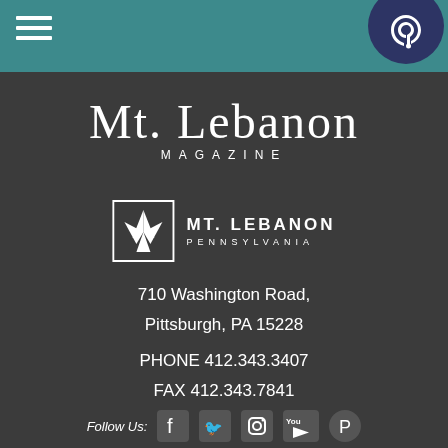[Figure (logo): Teal navigation header bar with hamburger menu icon on left and accessibility (hearing) button on right]
[Figure (logo): Mt. Lebanon Magazine logo in white serif text on dark background]
[Figure (logo): Mt. Lebanon Pennsylvania municipal logo with stylized leaf/fan icon]
710 Washington Road,
Pittsburgh, PA 15228
PHONE 412.343.3407
FAX 412.343.7841
Follow Us: